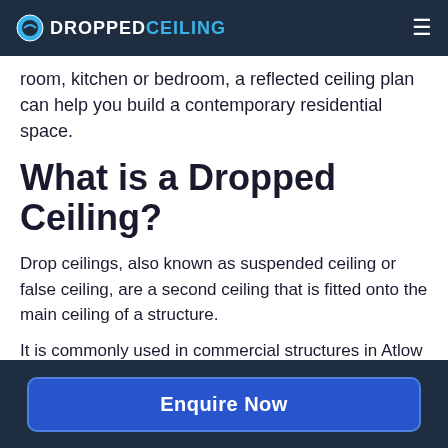DROPPEDCEILING
room, kitchen or bedroom, a reflected ceiling plan can help you build a contemporary residential space.
What is a Dropped Ceiling?
Drop ceilings, also known as suspended ceiling or false ceiling, are a second ceiling that is fitted onto the main ceiling of a structure.
It is commonly used in commercial structures in Atlow because of the benefits that
Enquire Now